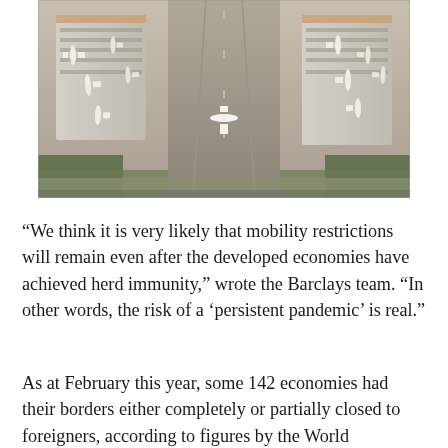[Figure (photo): Aerial view of a busy airport with multiple terminals, taxiways, and many airplanes parked at gates and on runways.]
“We think it is very likely that mobility restrictions will remain even after the developed economies have achieved herd immunity,” wrote the Barclays team. “In other words, the risk of a ‘persistent pandemic’ is real.”
As at February this year, some 142 economies had their borders either completely or partially closed to foreigners, according to figures by the World